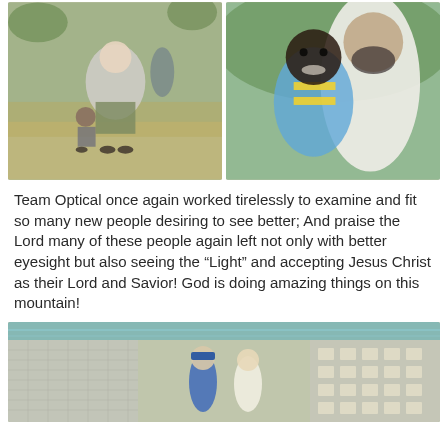[Figure (photo): Left photo: A man in a gray t-shirt and camouflage shorts leaning down toward a child on a dirt ground with another person in background]
[Figure (photo): Right photo: A smiling young Black child in a blue and yellow striped shirt with a bearded man in white shirt behind them]
Team Optical once again worked tirelessly to examine and fit so many new people desiring to see better; And praise the Lord many of these people again left not only with better eyesight but also seeing the “Light” and accepting Jesus Christ as their Lord and Savior! God is doing amazing things on this mountain!
[Figure (photo): Bottom photo: Interior of a block building with a metal roof, people visible inside, light coming through decorative block windows]